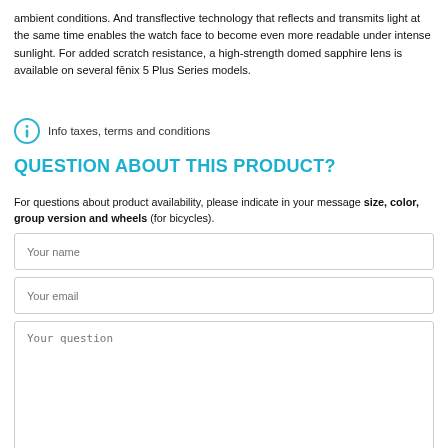ambient conditions. And transflective technology that reflects and transmits light at the same time enables the watch face to become even more readable under intense sunlight. For added scratch resistance, a high-strength domed sapphire lens is available on several fēnix 5 Plus Series models.
[Figure (other): Info icon (circle with letter i in cyan/teal color)]
Info taxes, terms and conditions
QUESTION ABOUT THIS PRODUCT?
For questions about product availability, please indicate in your message size, color, group version and wheels (for bicycles).
Your name
Your email
Your question